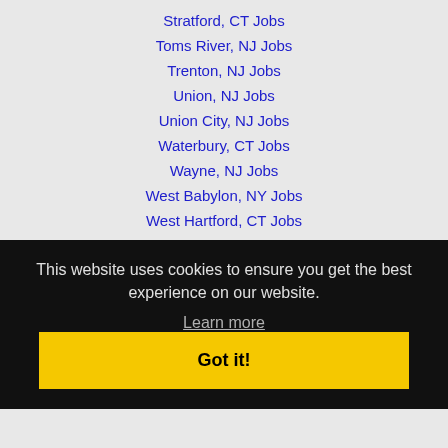Stratford, CT Jobs
Toms River, NJ Jobs
Trenton, NJ Jobs
Union, NJ Jobs
Union City, NJ Jobs
Waterbury, CT Jobs
Wayne, NJ Jobs
West Babylon, NY Jobs
West Hartford, CT Jobs
This website uses cookies to ensure you get the best experience on our website.
Learn more
Got it!